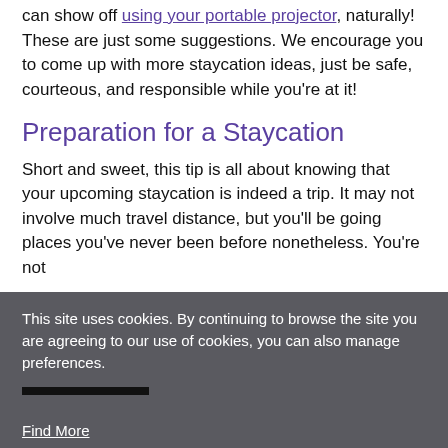can show off using your portable projector, naturally! These are just some suggestions. We encourage you to come up with more staycation ideas, just be safe, courteous, and responsible while you're at it!
Preparation for a Staycation
Short and sweet, this tip is all about knowing that your upcoming staycation is indeed a trip. It may not involve much travel distance, but you'll be going places you've never been before nonetheless. You're not
This site uses cookies. By continuing to browse the site you are agreeing to our use of cookies, you can also manage preferences.
I understand
Cookie Setting
Find More